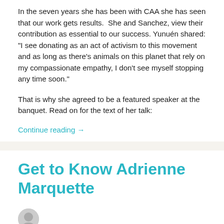In the seven years she has been with CAA she has seen that our work gets results.  She and Sanchez, view their contribution as essential to our success. Yunuén shared: “I see donating as an act of activism to this movement and as long as there’s animals on this planet that rely on my compassionate empathy, I don’t see myself stopping any time soon.”
That is why she agreed to be a featured speaker at the banquet. Read on for the text of her talk:
Continue reading →
Get to Know Adrienne Marquette
Posted on March 23, 2022 by Compassionate Action for Animals